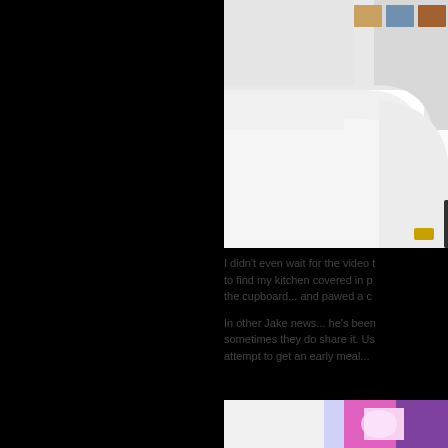[Figure (photo): Photo of a white kitchen counter or desk surface with rounded edges, slightly curved, against a light wall with some pictures/posters visible in the upper right. A small object visible at the bottom right corner.]
I didn't even wait for the video to find my kitchen covered in p the cupboard... and pawed a c
In other Jake news... he's been sometimes they do share it. Us attempt to get an early meal...
[Figure (photo): Colorful abstract image with pink, purple and white tones visible at the bottom right of the page.]